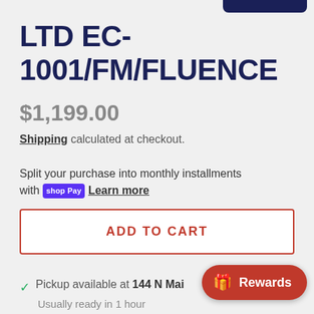LTD EC-1001/FM/FLUENCE
$1,199.00
Shipping calculated at checkout.
Split your purchase into monthly installments with shop Pay Learn more
ADD TO CART
✓ Pickup available at 144 N Mai...
Usually ready in 1 hour
View store information
Rewards